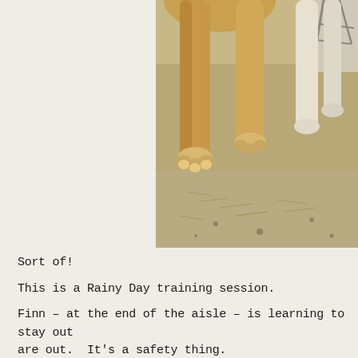[Figure (photo): Close-up photo of a dog's legs and paws standing on a concrete barn aisle floor, with hay/straw debris visible on the ground. The dog appears to be a large tan/golden colored dog. A metal object (possibly equipment) is visible in the background upper right.]
Sort of!
This is a Rainy Day training session.
Finn – at the end of the aisle – is learning to stay out are out.  It's a safety thing.
The ladies are learning…the hardest.  Thing.  Ever.
You understand?